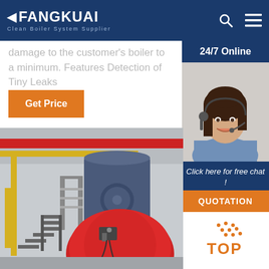FANGKUAI Clean Boiler System Supplier
damage to the customer's boiler to a minimum. Features Detection of Tiny Leaks
[Figure (photo): Customer service agent (woman with headset) with 24/7 Online label, Click here for free chat text, and QUOTATION button]
Get Price
[Figure (photo): Industrial boiler room with large blue boiler, red cylindrical boiler, yellow and red pipes, metal staircase]
TOP